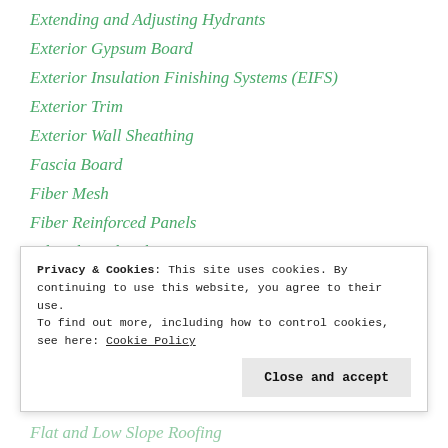Extending and Adjusting Hydrants
Exterior Gypsum Board
Exterior Insulation Finishing Systems (EIFS)
Exterior Trim
Exterior Wall Sheathing
Fascia Board
Fiber Mesh
Fiber Reinforced Panels
Fiberglass Sheathing
Fiberglass Windows
Final Cleanup
Final Lien Waiver
Privacy & Cookies: This site uses cookies. By continuing to use this website, you agree to their use.
To find out more, including how to control cookies, see here: Cookie Policy
Flat and Low Slope Roofing